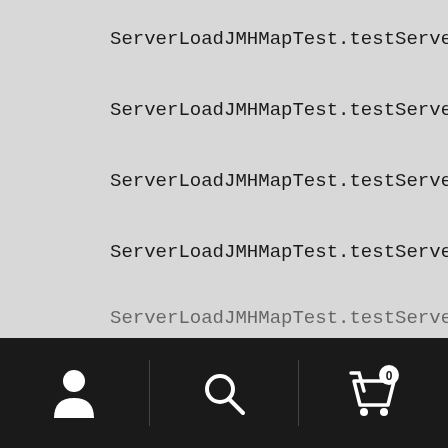ServerLoadJMHMapTest.testServerLoadPara.
ServerLoadJMHMapTest.testServerLoadPara.
ServerLoadJMHMapTest.testServerLoadPara.
ServerLoadJMHMapTest.testServerLoadPara.
ServerLoadJMHMapTest.testServerLoadPara.
ServerLoadJMHMapTest.testServerLoadPara.
ServerLoadJMHMapTest.testServerLoadPara.
[Figure (screenshot): Mobile app bottom navigation bar with user/account icon, search icon, and shopping cart icon with badge showing 0]